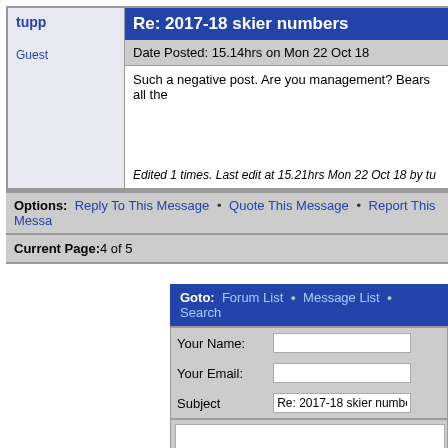Re: 2017-18 skier numbers
Date Posted: 15.14hrs on Mon 22 Oct 18
Such a negative post. Are you management? Bears all the...
Edited 1 times. Last edit at 15.21hrs Mon 22 Oct 18 by tu...
Options: Reply To This Message • Quote This Message • Report This Messa...
Current Page:4 of 5
Goto: Forum List • Message List • Search
Your Name:
Your Email:
Subject: Re: 2017-18 skier numbers